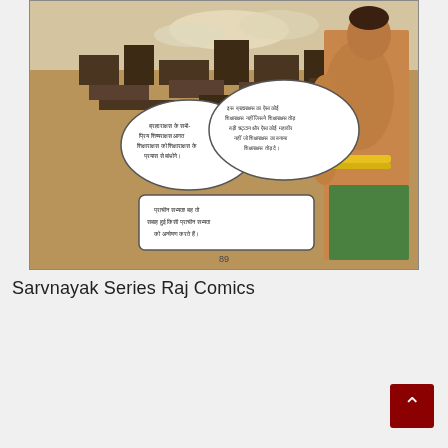[Figure (illustration): Comic book page scan from Sarvnayak Series Raj Comics. Shows a muscular male hero figure viewed from behind/side, standing in a desert landscape with ruins. Two speech bubbles in Hindi text are visible in the lower left portion. A third speech bubble appears at the bottom. The page number 89 is visible at the bottom center of the comic panel.]
Sarvnayak Series Raj Comics